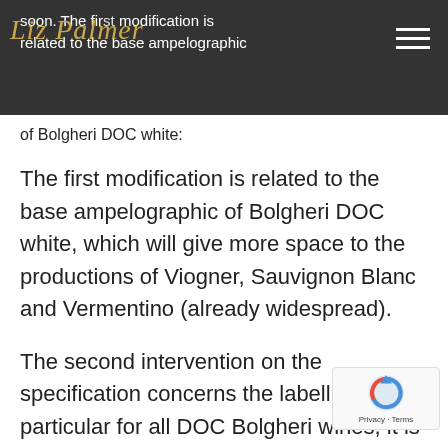soon. The first modification is related to the base ampelographic of Bolgheri DOC white:
of Bolgheri DOC white:
The first modification is related to the base ampelographic of Bolgheri DOC white, which will give more space to the productions of Viogner, Sauvignon Blanc and Vermentino (already widespread).
The second intervention on the specification concerns the labelling. In particular for all DOC Bolgheri wines, it is mandatory to have the
[Figure (logo): Liz Palmer cursive logo in gold/yellow script overlaid on dark header]